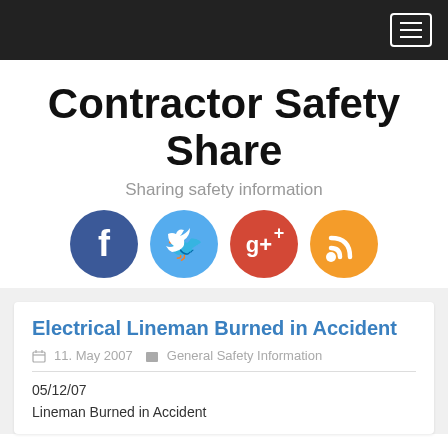Navigation bar with hamburger menu
Contractor Safety Share
Sharing safety information
[Figure (other): Social media icons: Facebook (blue circle), Twitter (light blue circle), Google+ (red/orange circle), RSS feed (orange circle)]
Electrical Lineman Burned in Accident
11. May 2007   General Safety Information
05/12/07
Lineman Burned in Accident